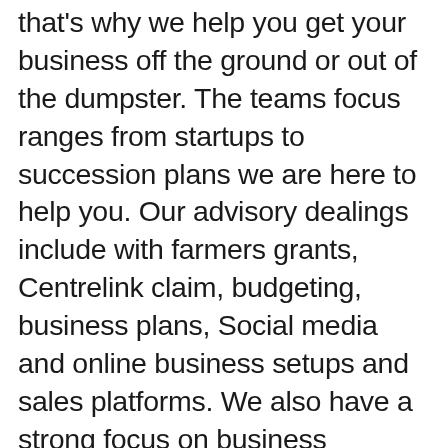that's why we help you get your business off the ground or out of the dumpster. The teams focus ranges from startups to succession plans we are here to help you. Our advisory dealings include with farmers grants, Centrelink claim, budgeting, business plans, Social media and online business setups and sales platforms. We also have a strong focus on business coaching, Xero apps and add on's, accounting settlements & agreements and Xero training. So don't forget we are here to help you in your business get your feet firmly on the ground.